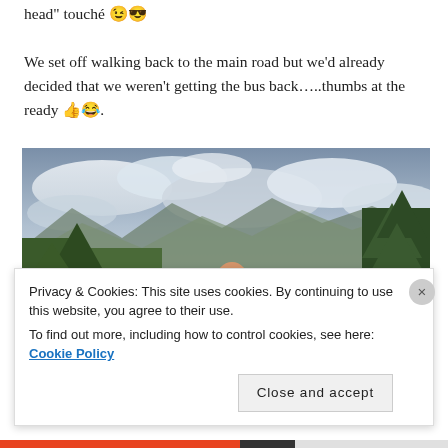head” touchè 😉😎
We set off walking back to the main road but we’d already decided that we weren’t getting the bus back…..thumbs at the ready 👍😂.
[Figure (photo): Man in blue t-shirt hitchhiking on a road with mountains and trees in background, cloudy sky, road signs visible including a yellow warning sign]
Privacy & Cookies: This site uses cookies. By continuing to use this website, you agree to their use.
To find out more, including how to control cookies, see here: Cookie Policy
Close and accept